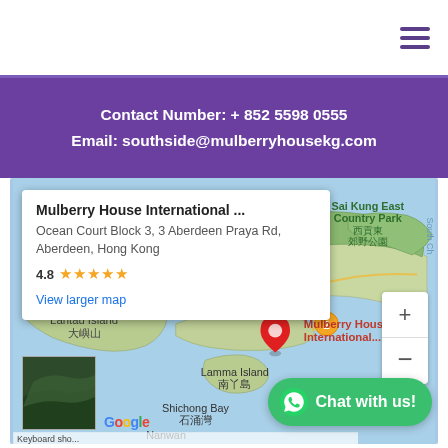[Figure (screenshot): Website header with white background and purple hamburger menu icon on the right]
Contact Number: + 852 5598 0555
Email: southside@mulberryhousekg.com
[Figure (map): Google Maps screenshot showing Hong Kong area including Aberdeen, Lantau Island, Lamma Island, Sai Kung East Country Park, with a map popup showing Mulberry House International at Ocean Court Block 3, 3 Aberdeen Praya Rd, Aberdeen, Hong Kong, rating 4.8 stars, View larger map link. Red location pin. Chat with us button overlay.]